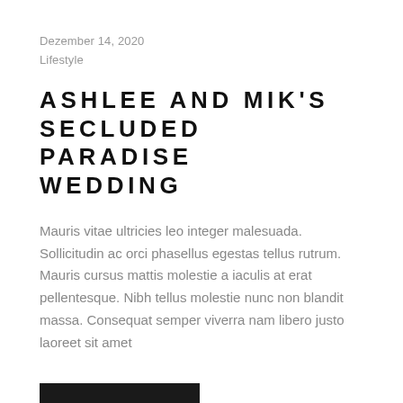Dezember 14, 2020
Lifestyle
ASHLEE AND MIK'S SECLUDED PARADISE WEDDING
Mauris vitae ultricies leo integer malesuada. Sollicitudin ac orci phasellus egestas tellus rutrum. Mauris cursus mattis molestie a iaculis at erat pellentesque. Nibh tellus molestie nunc non blandit massa. Consequat semper viverra nam libero justo laoreet sit amet
[Figure (photo): Black image bar at bottom of page]